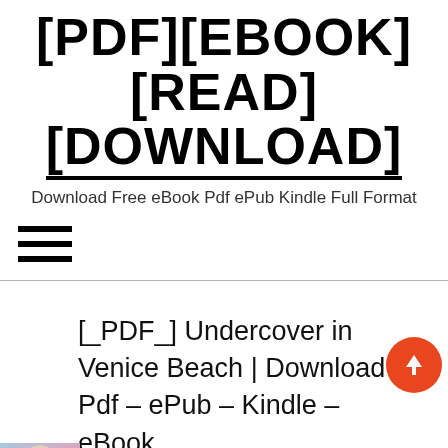[PDF][EBOOK][READ][DOWNLOAD]
Download Free eBook Pdf ePub Kindle Full Format
[Figure (other): Hamburger menu icon (three horizontal lines)]
[_PDF_] Undercover in Venice Beach | Download Pdf - ePub - Kindle - eBook
[Figure (other): Orange circular button with upward arrow icon]
[Figure (photo): Small thumbnail image of a book cover for 'Undercover in Venice Beach']